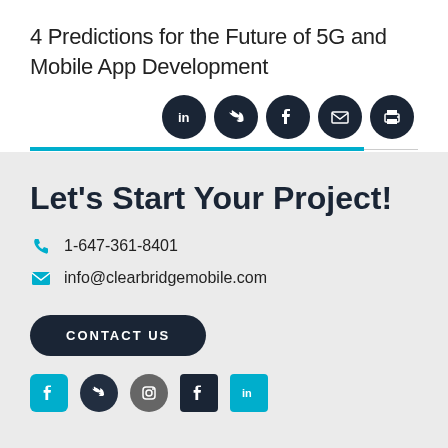4 Predictions for the Future of 5G and Mobile App Development
[Figure (infographic): Row of 5 social share icon buttons (LinkedIn, Twitter, Facebook, Email, Print) as dark navy circular icons]
Let's Start Your Project!
1-647-361-8401
info@clearbridgemobile.com
CONTACT US
[Figure (infographic): Row of social media icons at bottom (partial, cut off)]